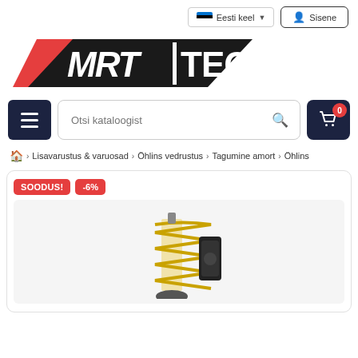Eesti keel   Sisene
[Figure (logo): MRT TECH logo — red and black stylized text logo]
[Figure (screenshot): Navigation bar with hamburger menu button, search box 'Otsi kataloogist', and cart icon with badge 0]
🏠 > Lisavarustus & varuosad > Öhlins vedrustus > Tagumine amort > Öhlins
[Figure (photo): Product card showing SOODUS! -6% badges and a yellow/gold Öhlins rear shock absorber on grey background]